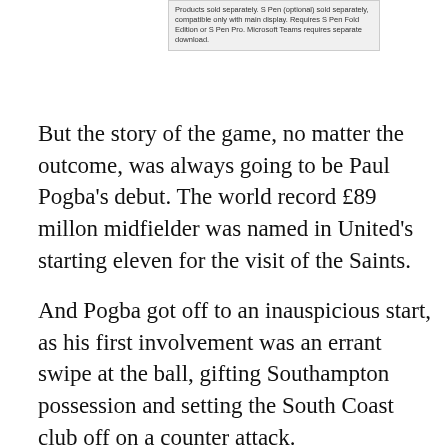[Figure (other): Advertisement box with fine print text: 'Products sold separately. S Pen (optional) sold separately, compatible only with main display. Requires S Pen Fold Edition or S Pen Pro. Microsoft Teams requires separate download.']
But the story of the game, no matter the outcome, was always going to be Paul Pogba's debut. The world record £89 millon midfielder was named in United's starting eleven for the visit of the Saints.
And Pogba got off to an inauspicious start, as his first involvement was an errant swipe at the ball, gifting Southampton possession and setting the South Coast club off on a counter attack.
Pogba continued to look a little rusty for the first 10 minutes, but once the Frenchman stung the palms of goalkeeper Fraser Forster with the first shot of his second spell at Old Trafford, he seemed to find his footing and began to grow into the game.